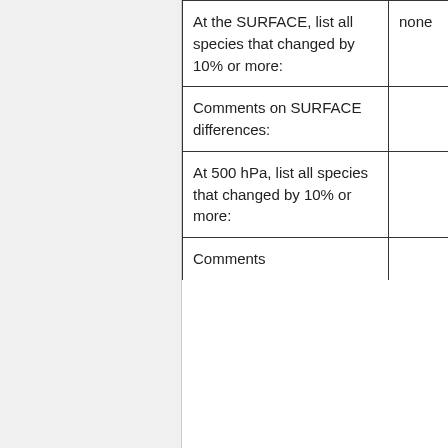| Field | Value |
| --- | --- |
| At the SURFACE, list all species that changed by 10% or more: | none |
| Comments on SURFACE differences: |  |
| At 500 hPa, list all species that changed by 10% or more: |  |
| Comments |  |